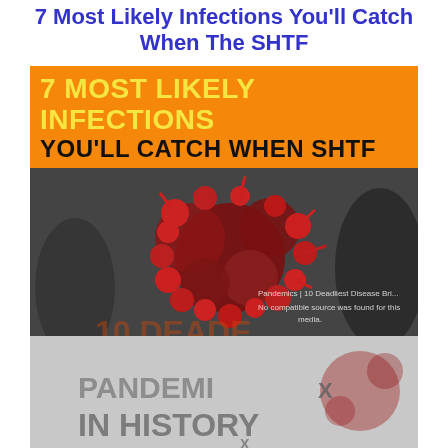7 Most Likely Infections You'll Catch When The SHTF
[Figure (illustration): Infographic image with orange banner reading '7 MOST LIKELY INFECTIONS YOU'LL CATCH WHEN SHTF' over a photo of a coronavirus particle with blurred people in background. Below is a partially visible second image showing '10 DEADLIEST PANDEMICS IN HISTORY' with a media error overlay and close button.]